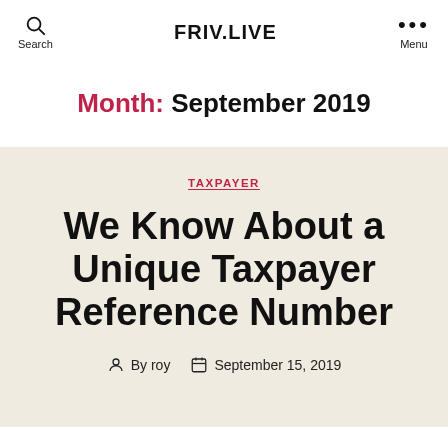FRIV.LIVE
Month: September 2019
TAXPAYER
We Know About a Unique Taxpayer Reference Number
By roy  September 15, 2019